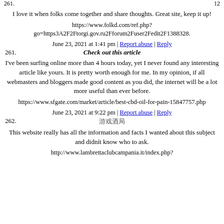I love it when folks come together and share thoughts. Great site, keep it up!
https://www.folkd.com/ref.php?go=https3A2F2Ftorgi.gov.ru2Fforum2Fuser2Fedit2F1388328.
June 23, 2021 at 1:41 pm | Report abuse | Reply
261. Check out this article
I've been surfing online more than 4 hours today, yet I never found any interesting article like yours. It is pretty worth enough for me. In my opinion, if all webmasters and bloggers made good content as you did, the internet will be a lot more useful than ever before.
https://www.sfgate.com/market/article/best-cbd-oil-for-pain-15847757.php
June 23, 2021 at 9:22 pm | Report abuse | Reply
262. æ¸¸戏酒局
This website really has all the information and facts I wanted about this subject and didnít know who to ask.
http://www.lambrettaclubcampania.it/index.php?